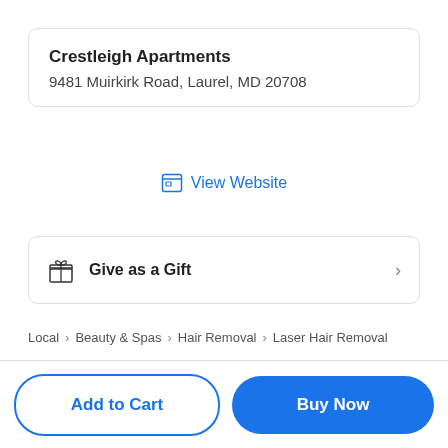Crestleigh Apartments
9481 Muirkirk Road, Laurel, MD 20708
View Website
Give as a Gift
Local > Beauty & Spas > Hair Removal > Laser Hair Removal
Add to Cart
Buy Now